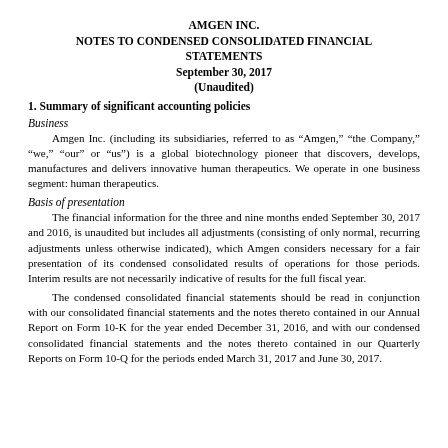AMGEN INC.
NOTES TO CONDENSED CONSOLIDATED FINANCIAL STATEMENTS
September 30, 2017
(Unaudited)
1. Summary of significant accounting policies
Business
Amgen Inc. (including its subsidiaries, referred to as “Amgen,” “the Company,” “we,” “our” or “us”) is a global biotechnology pioneer that discovers, develops, manufactures and delivers innovative human therapeutics. We operate in one business segment: human therapeutics.
Basis of presentation
The financial information for the three and nine months ended September 30, 2017 and 2016, is unaudited but includes all adjustments (consisting of only normal, recurring adjustments unless otherwise indicated), which Amgen considers necessary for a fair presentation of its condensed consolidated results of operations for those periods. Interim results are not necessarily indicative of results for the full fiscal year.
The condensed consolidated financial statements should be read in conjunction with our consolidated financial statements and the notes thereto contained in our Annual Report on Form 10-K for the year ended December 31, 2016, and with our condensed consolidated financial statements and the notes thereto contained in our Quarterly Reports on Form 10-Q for the periods ended March 31, 2017 and June 30, 2017.